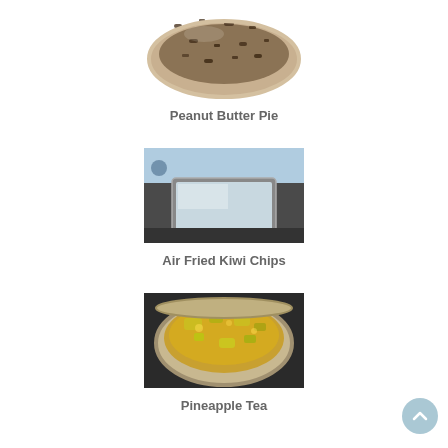[Figure (photo): Photo of a peanut butter pie in a pie dish with crumbled topping]
Peanut Butter Pie
[Figure (photo): Photo of a tablet or device in a car dashboard area, possibly an air fryer screen]
Air Fried Kiwi Chips
[Figure (photo): Photo of pineapple tea cooking in a large round pot on a stove]
Pineapple Tea